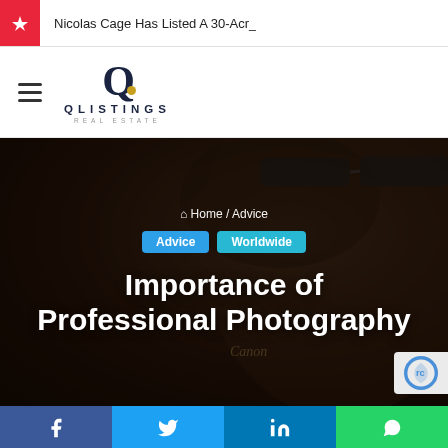Nicolas Cage Has Listed A 30-Acr_
[Figure (logo): QListings Real Estate logo with stylized Q and gold dot]
[Figure (photo): Dark hero image of person holding a Canon camera with sunglasses on head, overlaid with breadcrumb navigation, category tags (Advice, Worldwide), and title text]
Importance of Professional Photography
[Figure (infographic): Social share bar with Facebook, Twitter, LinkedIn, and WhatsApp buttons]